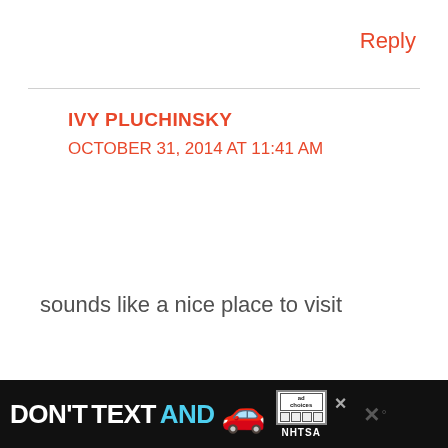Reply
IVY PLUCHINSKY
OCTOBER 31, 2014 AT 11:41 AM
sounds like a nice place to visit
Reply
[Figure (other): Share/social button icon — circular white button with share arrow and plus sign]
[Figure (other): Ad banner: DON'T TEXT AND [car emoji] with ad/NHTSA logo and close/dismiss icons on black background]